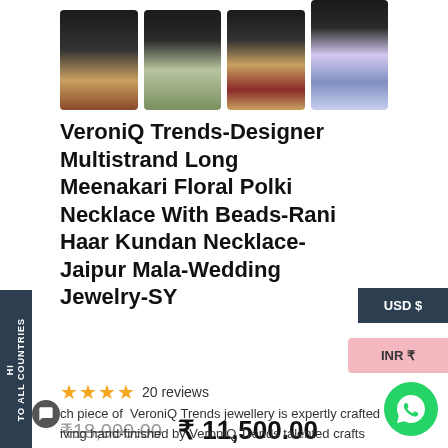[Figure (photo): Four product thumbnail images of Meenakari jewelry necklaces on dark background]
VeroniQ Trends-Designer Multistrand Long Meenakari Floral Polki Necklace With Beads-Rani Haar Kundan Necklace-Jaipur Mala-Wedding Jewelry-SY
20 reviews
₹18,000.00  ₹ 11,500.00
ch piece of VeroniQ Trends jewellery is expertly crafted iving hand-finished by VeroniQ Trends talented crafts